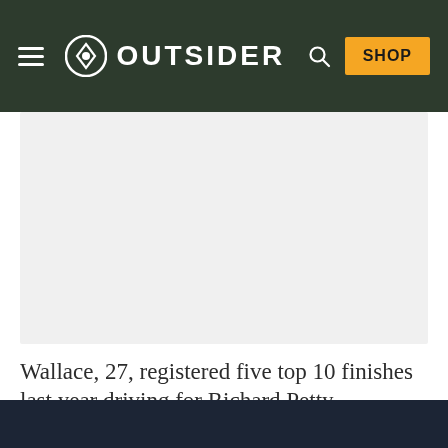OUTSIDER
[Figure (photo): Large image placeholder with light gray background]
Wallace, 27, registered five top 10 finishes last year driving for Richard Petty Motorsports.